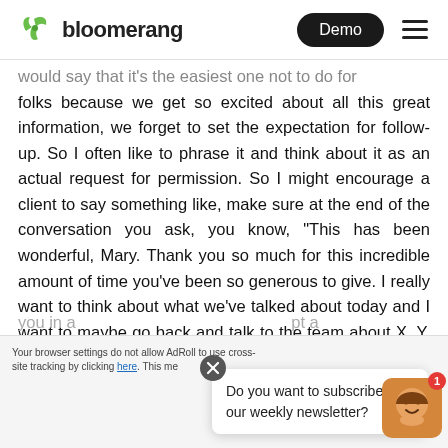bloomerang | Demo
would say that it's the easiest one not to do for folks because we get so excited about all this great information, we forget to set the expectation for follow-up. So I often like to phrase it and think about it as an actual request for permission. So I might encourage a client to say something like, make sure at the end of the conversation you ask, you know, “This has been wonderful, Mary. Thank you so much for this incredible amount of time you’ve been so generous to give. I really want to think about what we’ve talked about today and I want to maybe go back and talk to the team about X, Y, Z program that we discussed and answer some of those questions for you. Would it be okay if I came to you in a…
Do you want to subscribe to our weekly newsletter?
Your browser settings do not allow AdRoll to use cross-site tracking by clicking here. This me...